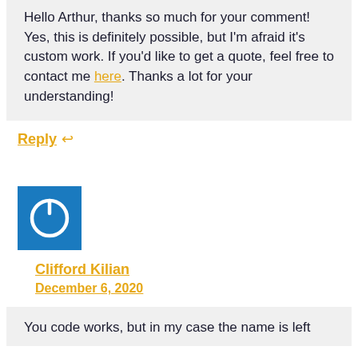Hello Arthur, thanks so much for your comment! Yes, this is definitely possible, but I'm afraid it's custom work. If you'd like to get a quote, feel free to contact me here. Thanks a lot for your understanding!
Reply ↩
[Figure (logo): Blue square avatar with white power button icon]
Clifford Kilian
December 6, 2020
You code works, but in my case the name is left